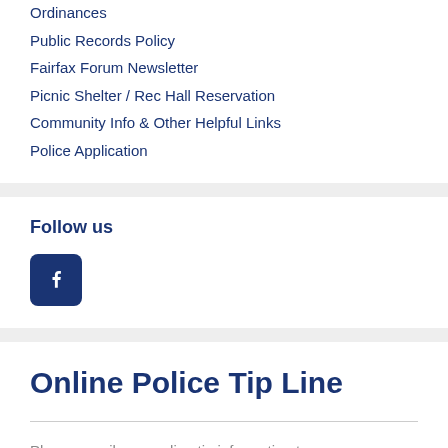Ordinances
Public Records Policy
Fairfax Forum Newsletter
Picnic Shelter / Rec Hall Reservation
Community Info & Other Helpful Links
Police Application
Follow us
[Figure (logo): Facebook icon — white 'f' logo on dark blue rounded square background]
Online Police Tip Line
Please email your online tip information to:
fairfaxpd@fairfaxoh.org